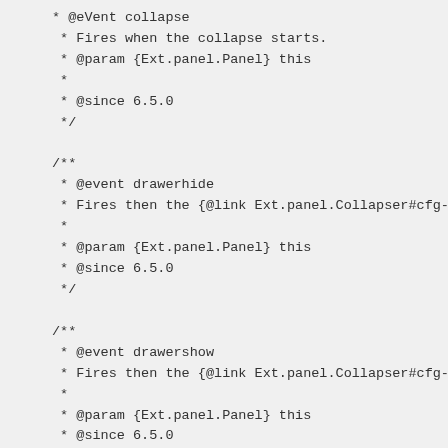* @eVent collapse
 * Fires when the collapse starts.
 * @param {Ext.panel.Panel} this
 *
 * @since 6.5.0
 */

/**
 * @event drawerhide
 * Fires then the {@link Ext.panel.Collapser#cfg-dr
 *
 * @param {Ext.panel.Panel} this
 * @since 6.5.0
 */

/**
 * @event drawershow
 * Fires then the {@link Ext.panel.Collapser#cfg-dr
 *
 * @param {Ext.panel.Panel} this
 * @since 6.5.0
 */

/**
 * @event expand